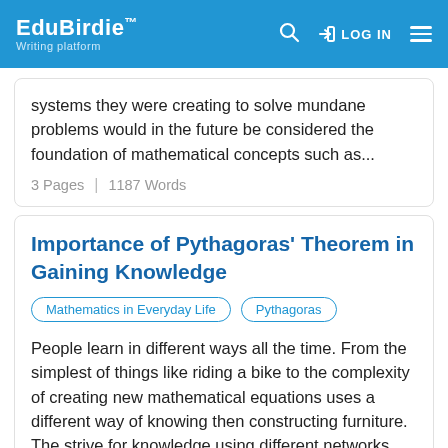EduBirdie™ Writing platform — LOG IN
systems they were creating to solve mundane problems would in the future be considered the foundation of mathematical concepts such as...
3 Pages | 1187 Words
Importance of Pythagoras' Theorem in Gaining Knowledge
Mathematics in Everyday Life
Pythagoras
People learn in different ways all the time. From the simplest of things like riding a bike to the complexity of creating new mathematical equations uses a different way of knowing then constructing furniture. The strive for knowledge using different networks lead to significant